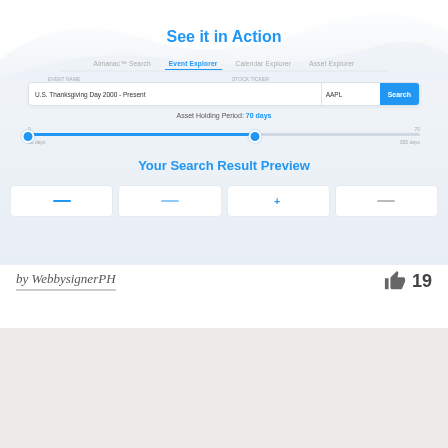[Figure (screenshot): Screenshot of a web app showing 'See it in Action' section with tabs: Almanac™ Search, Event Explorer (active), Calendar Explorer, Asset Explorer. A search bar shows 'U.S. Thanksgiving Day 2000 - Present' and 'AAPL' with a blue Search button. Below is 'Asset Holding Period: 70 days' with a range slider. Below that is 'Your Search Result Preview' heading with four white result cards partially visible.]
by WebbysignerPH
19